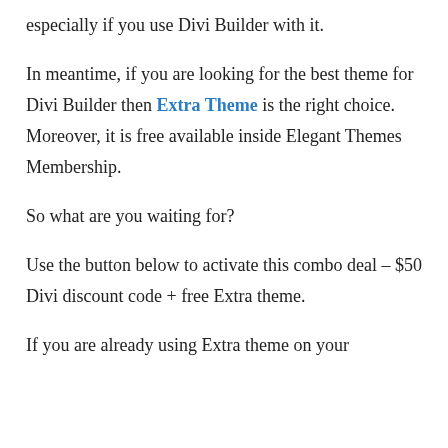especially if you use Divi Builder with it.
In meantime, if you are looking for the best theme for Divi Builder then Extra Theme is the right choice. Moreover, it is free available inside Elegant Themes Membership.
So what are you waiting for?
Use the button below to activate this combo deal – $50 Divi discount code + free Extra theme.
If you are already using Extra theme on your